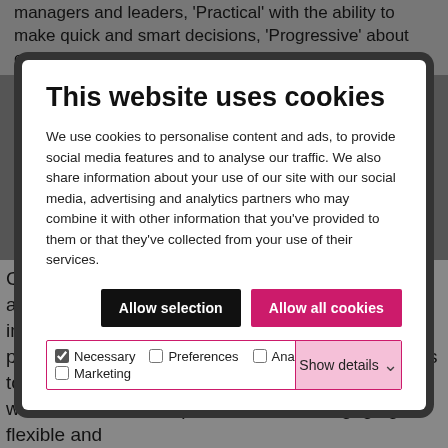managers and leaders, 'Practical' with the ability to make quick and smart decisions, 'Progressive' about creating a
This website uses cookies
We use cookies to personalise content and ads, to provide social media features and to analyse our traffic. We also share information about your use of our site with our social media, advertising and analytics partners who may combine it with other information that you've provided to them or that they've collected from your use of their services.
Allow selection | Allow all cookies
Necessary  Preferences  Analytics  Marketing  Show details
CMI, new leadership and management strategies are at the fore-front of what we do. We know the importance of fresh ideas and encourage new perspectives. We are a not for profit, Sunday Times top 100 employer, with a Platinum Accreditation with Investors in People. We offer an engaging, flexible and